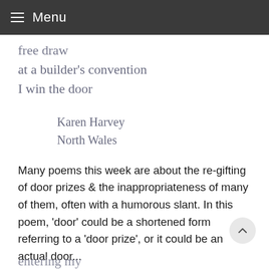≡ Menu
free draw
at a builder's convention
I win the door
Karen Harvey
North Wales
Many poems this week are about the re-gifting of door prizes & the inappropriateness of many of them, often with a humorous slant. In this poem, 'door' could be a shortened form referring to a 'door prize', or it could be an actual door...
entering my